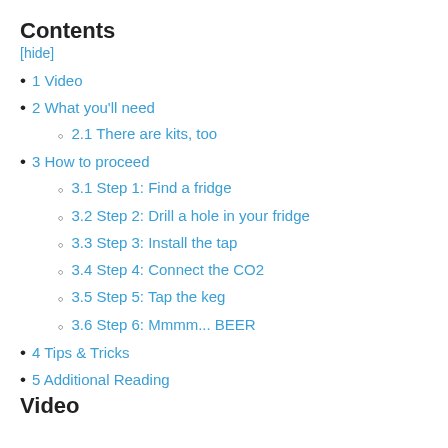Contents
[hide]
1 Video
2 What you'll need
2.1 There are kits, too
3 How to proceed
3.1 Step 1: Find a fridge
3.2 Step 2: Drill a hole in your fridge
3.3 Step 3: Install the tap
3.4 Step 4: Connect the CO2
3.5 Step 5: Tap the keg
3.6 Step 6: Mmmm... BEER
4 Tips & Tricks
5 Additional Reading
Video